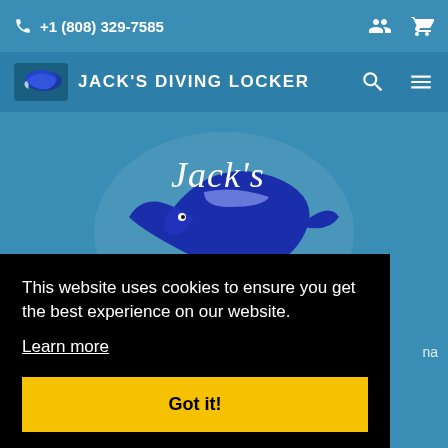+1 (808) 329-7585
[Figure (logo): Jack's Diving Locker navigation bar logo — small fish/manta logo icon with text JACK'S DIVING LOCKER]
[Figure (logo): Jack's Diving Locker main logo — large blue whale/manta ray with cursive text reading Jack's Diving Locker Kona, Hawaii]
This website uses cookies to ensure you get the best experience on our website.
Learn more
Got it!